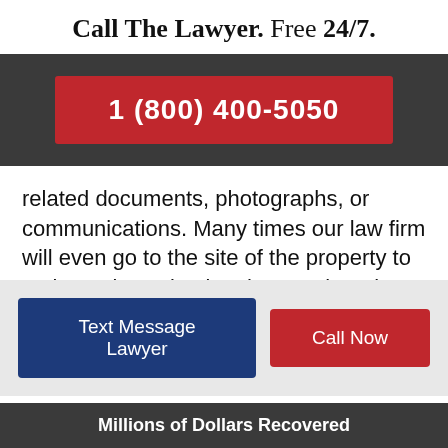Call The Lawyer. Free 24/7.
[Figure (other): Dark banner with red phone number button displaying 1 (800) 400-5050]
related documents, photographs, or communications. Many times our law firm will even go to the site of the property to make an investigation that can later be helpful to our client's legal case.
Text Message Lawyer
Call Now
Millions of Dollars Recovered